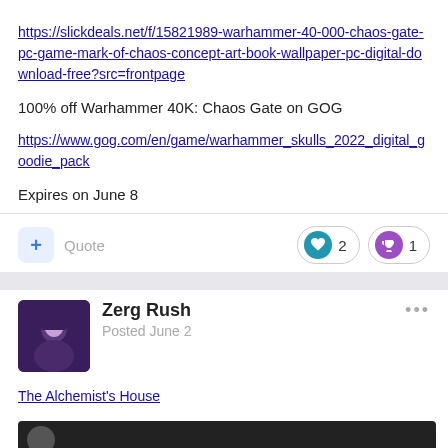https://slickdeals.net/f/15821989-warhammer-40-000-chaos-gate-pc-game-mark-of-chaos-concept-art-book-wallpaper-pc-digital-download-free?src=frontpage
100% off Warhammer 40K: Chaos Gate on GOG
https://www.gog.com/en/game/warhammer_skulls_2022_digital_goodie_pack
Expires on June 8
+ Quote
2 | 1
Zerg Rush
Posted June 2
The Alchemist's House